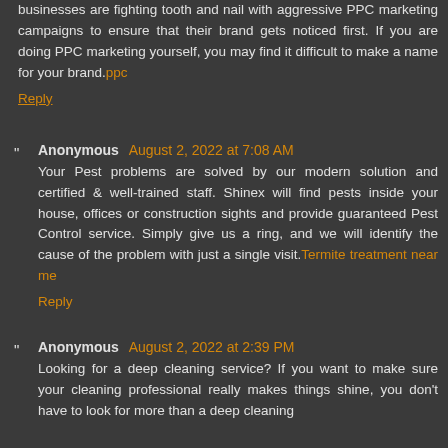businesses are fighting tooth and nail with aggressive PPC marketing campaigns to ensure that their brand gets noticed first. If you are doing PPC marketing yourself, you may find it difficult to make a name for your brand.ppc
Reply
Anonymous August 2, 2022 at 7:08 AM
Your Pest problems are solved by our modern solution and certified & well-trained staff. Shinex will find pests inside your house, offices or construction sights and provide guaranteed Pest Control service. Simply give us a ring, and we will identify the cause of the problem with just a single visit.Termite treatment near me
Reply
Anonymous August 2, 2022 at 2:39 PM
Looking for a deep cleaning service? If you want to make sure your cleaning professional really makes things shine, you don't have to look for more than a deep cleaning